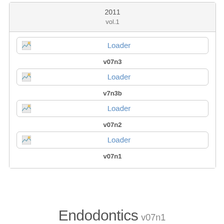2011
vol.1
[Figure (other): Loader placeholder image icon]
v07n3
[Figure (other): Loader placeholder image icon]
v7n3b
[Figure (other): Loader placeholder image icon]
v07n2
[Figure (other): Loader placeholder image icon]
v07n1
Endodontics v07n1